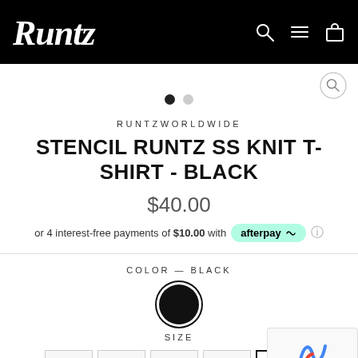Runtz
[Figure (other): Carousel navigation dots: one filled black and one gray]
RUNTZWORLDWIDE
STENCIL RUNTZ SS KNIT T-SHIRT - BLACK
$40.00
or 4 interest-free payments of $10.00 with afterpay
COLOR — BLACK
[Figure (other): Black color swatch circle for the selected color option]
SIZE
[Figure (other): Size selection buttons row, partially visible, with one active size highlighted]